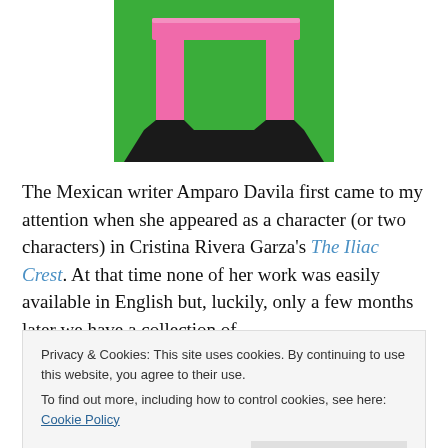[Figure (illustration): Stylized illustration of a pink table or desk on a green background with black shadow, partial view showing legs and top]
The Mexican writer Amparo Davila first came to my attention when she appeared as a character (or two characters) in Cristina Rivera Garza's The Iliac Crest. At that time none of her work was easily available in English but, luckily, only a few months later we have a collection of
Privacy & Cookies: This site uses cookies. By continuing to use this website, you agree to their use.
To find out more, including how to control cookies, see here: Cookie Policy
Close and accept
strange, often threatening, presence in a domestic setting.